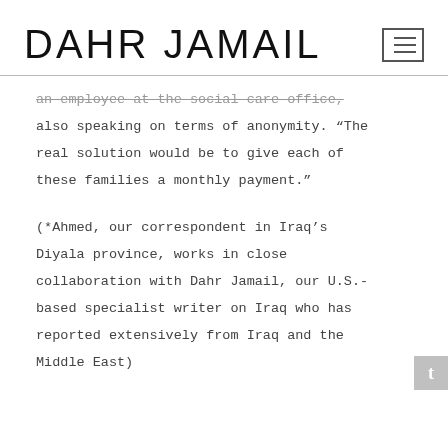DAHR JAMAIL
an employee at the social care office, also speaking on terms of anonymity. “The real solution would be to give each of these families a monthly payment.”
(*Ahmed, our correspondent in Iraq’s Diyala province, works in close collaboration with Dahr Jamail, our U.S.-based specialist writer on Iraq who has reported extensively from Iraq and the Middle East)